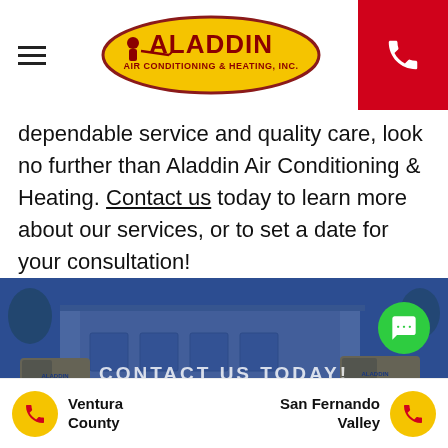[Hamburger menu icon] [Aladdin Air Conditioning & Heating, Inc. logo] [Phone button]
dependable service and quality care, look no further than Aladdin Air Conditioning & Heating. Contact us today to learn more about our services, or to set a date for your consultation!
[Figure (photo): Blue-tinted photo of Aladdin Air Conditioning & Heating storefront with service vans, overlaid with text CONTACT US TODAY! and a green chat bubble icon]
Ventura County [phone icon]    San Fernando Valley [phone icon]